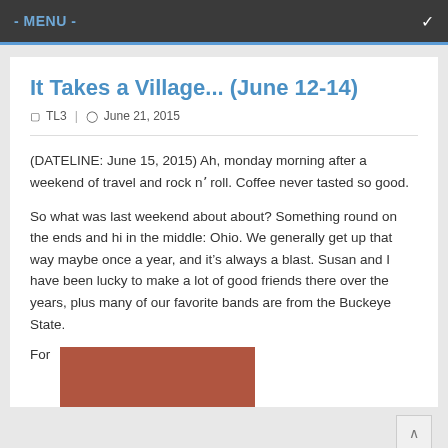- MENU -
It Takes a Village... (June 12-14)
TL3  |  June 21, 2015
(DATELINE: June 15, 2015) Ah, monday morning after a weekend of travel and rock n' roll. Coffee never tasted so good.
So what was last weekend about about? Something round on the ends and hi in the middle: Ohio. We generally get up that way maybe once a year, and it’s always a blast. Susan and I have been lucky to make a lot of good friends there over the years, plus many of our favorite bands are from the Buckeye State.
For
[Figure (photo): A photo of people, partially visible at bottom of page]